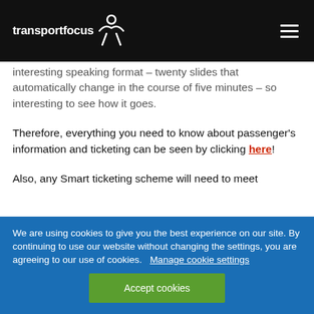transportfocus
interesting speaking format – twenty slides that automatically change in the course of five minutes – so interesting to see how it goes.
Therefore, everything you need to know about passenger's information and ticketing can be seen by clicking here!
Also, any Smart ticketing scheme will need to meet
We are using cookies to give you the best experience on our site. By continuing to use our website without changing the settings, you are agreeing to our use of cookies. Manage cookie settings
Accept cookies